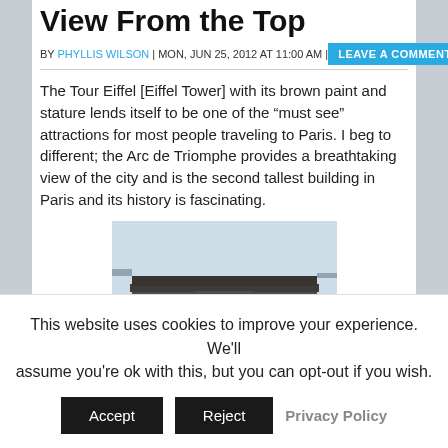View From the Top
BY PHYLLIS WILSON | MON, JUN 25, 2012 AT 11:00 AM |
The Tour Eiffel [Eiffel Tower] with its brown paint and stature lends itself to be one of the “must see” attractions for most people traveling to Paris. I beg to different; the Arc de Triomphe provides a breathtaking view of the city and is the second tallest building in Paris and its history is fascinating.
[Figure (photo): Photo of the Arc de Triomphe monument in Paris, viewed from below showing the arch structure against a light sky]
This website uses cookies to improve your experience. We'll assume you're ok with this, but you can opt-out if you wish.